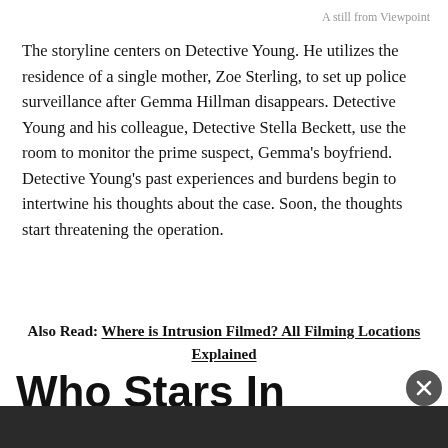A still from Viewpoint
The storyline centers on Detective Young. He utilizes the residence of a single mother, Zoe Sterling, to set up police surveillance after Gemma Hillman disappears. Detective Young and his colleague, Detective Stella Beckett, use the room to monitor the prime suspect, Gemma's boyfriend. Detective Young's past experiences and burdens begin to intertwine his thoughts about the case. Soon, the thoughts start threatening the operation.
Also Read: Where is Intrusion Filmed? All Filming Locations Explained
Who Stars In Viewpoint? All About